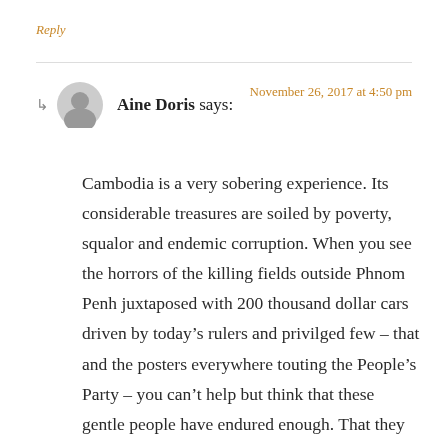Reply
Aine Doris says:
November 26, 2017 at 4:50 pm
Cambodia is a very sobering experience. Its considerable treasures are soiled by poverty, squalor and endemic corruption. When you see the horrors of the killing fields outside Phnom Penh juxtaposed with 200 thousand dollar cars driven by today’s rulers and privilged few – that and the posters everywhere touting the People’s Party – you can’t help but think that these gentle people have endured enough. That they